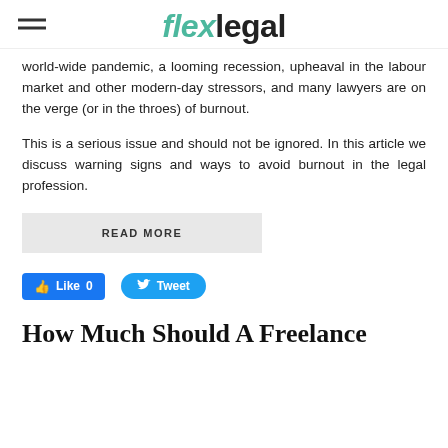flexlegal
world-wide pandemic, a looming recession, upheaval in the labour market and other modern-day stressors, and many lawyers are on the verge (or in the throes) of burnout.
This is a serious issue and should not be ignored. In this article we discuss warning signs and ways to avoid burnout in the legal profession.
READ MORE
Like 0   Tweet
How Much Should A Freelance